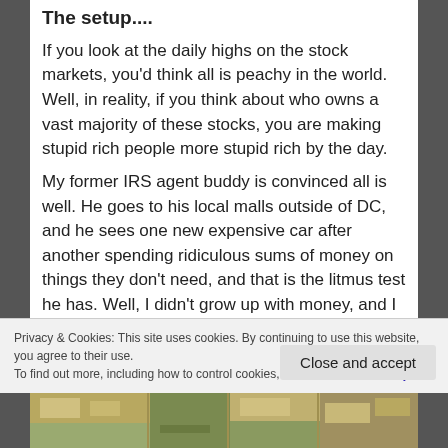The setup....
If you look at the daily highs on the stock markets, you'd think all is peachy in the world. Well, in reality, if you think about who owns a vast majority of these stocks, you are making stupid rich people more stupid rich by the day.
My former IRS agent buddy is convinced all is well. He goes to his local malls outside of DC, and he sees one new expensive car after another spending ridiculous sums of money on things they don't need, and that is the litmus test he has. Well, I didn't grow up with money, and I know what poor looks
Privacy & Cookies: This site uses cookies. By continuing to use this website, you agree to their use.
To find out more, including how to control cookies, see here: Cookie Policy
[Figure (photo): Aerial photograph of buildings and grounds]